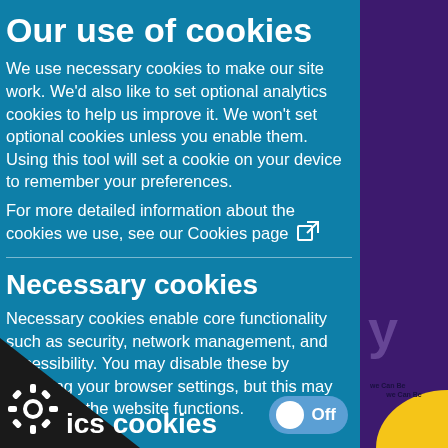Our use of cookies
We use necessary cookies to make our site work. We'd also like to set optional analytics cookies to help us improve it. We won't set optional cookies unless you enable them. Using this tool will set a cookie on your device to remember your preferences.
For more detailed information about the cookies we use, see our Cookies page [external link icon]
Necessary cookies
Necessary cookies enable core functionality such as security, network management, and accessibility. You may disable these by changing your browser settings, but this may affect how the website functions.
ics cookies
Off